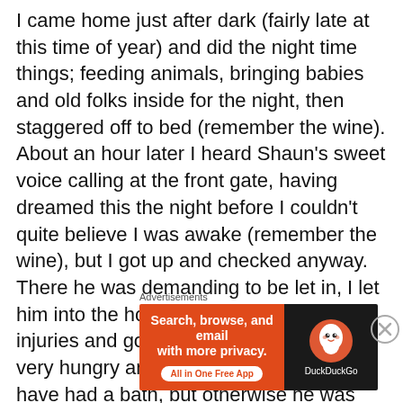I came home just after dark (fairly late at this time of year) and did the night time things; feeding animals, bringing babies and old folks inside for the night, then staggered off to bed (remember the wine). About an hour later I heard Shaun's sweet voice calling at the front gate, having dreamed this the night before I couldn't quite believe I was awake (remember the wine), but I got up and checked anyway. There he was demanding to be let in, I let him into the house, checked him for injuries and got him some food. He was very hungry and thirsty and appeared to have had a bath, but otherwise he was fine. That's when it occurred to me I might still be dreaming.
Advertisements
[Figure (other): DuckDuckGo advertisement banner: orange left panel with text 'Search, browse, and email with more privacy. All in One Free App' and dark right panel with DuckDuckGo logo and name.]